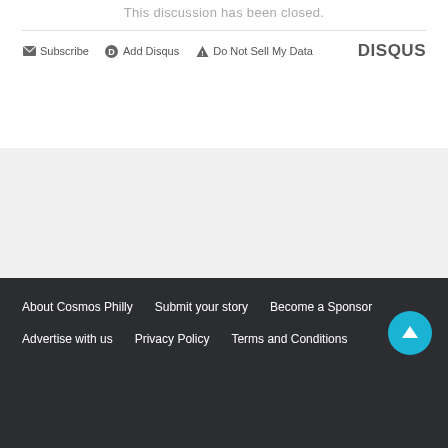This discussion has been closed.
Subscribe  Add Disqus  Do Not Sell My Data  DISQUS
[Figure (other): Gray content background area with horizontal divider]
[Figure (other): Teal circular back-to-top arrow button]
About Cosmos Philly  Submit your story  Become a Sponsor  Advertise with us  Privacy Policy  Terms and Conditions